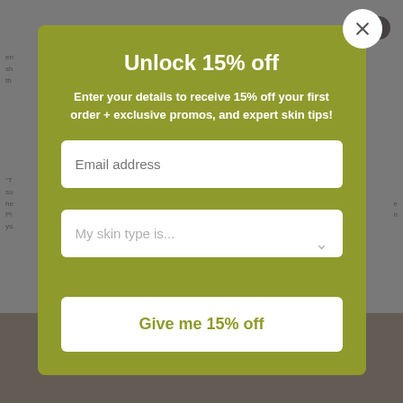[Figure (screenshot): Website background partially visible with gray overlay and partial text content behind modal]
Unlock 15% off
Enter your details to receive 15% off your first order + exclusive promos, and expert skin tips!
Email address
My skin type is...
Give me 15% off